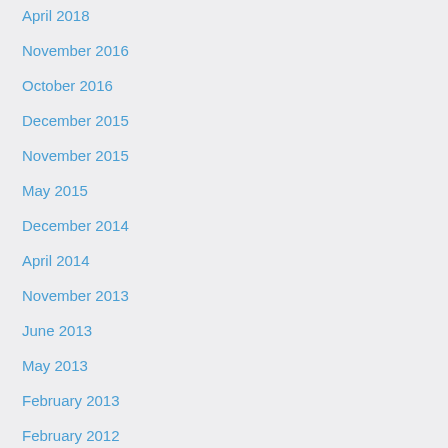April 2018
November 2016
October 2016
December 2015
November 2015
May 2015
December 2014
April 2014
November 2013
June 2013
May 2013
February 2013
February 2012
December 2011
October 2011